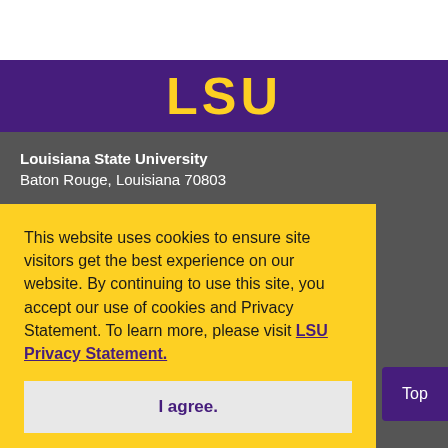[Figure (logo): LSU logo text in gold on purple banner]
Louisiana State University
Baton Rouge, Louisiana 70803
This website uses cookies to ensure site visitors get the best experience on our website. By continuing to use this site, you accept our use of cookies and Privacy Statement. To learn more, please visit LSU Privacy Statement.
I agree.
Baton Rouge, LA 70803